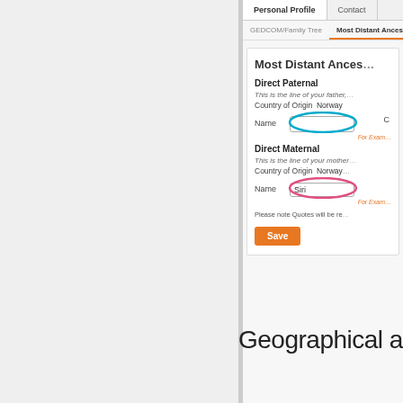[Figure (screenshot): Screenshot of a genealogy website form showing 'Most Distant Ancestors' section with tabs for Personal Profile and Contact, sub-tabs for GEDCOM/Family Tree and Most Distant Ancestors. Two sections: Direct Paternal (Country of Origin: Norway, Name field with blue oval annotation) and Direct Maternal (Country of Origin: Norway, Name field showing 'Siri' with pink oval annotation). A Save button is visible at the bottom of the form.]
Geographical area cov